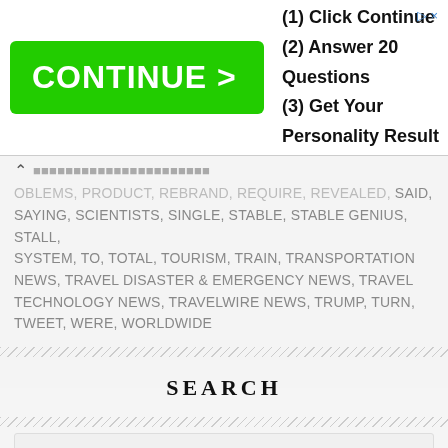[Figure (screenshot): Advertisement banner with green CONTINUE > button on left and text '(1) Click Continue, (2) Answer 20 Questions, (3) Get Your Personality Result' on right]
OBLEMS, PRODUCT, REBRAND, REQUIRE, REVEALED, SAID, SAYING, SCIENTISTS, SINGLE, STABLE, STABLE GENIUS, STALL, SYSTEM, TO, TOTAL, TOURISM, TRAIN, TRANSPORTATION NEWS, TRAVEL DISASTER & EMERGENCY NEWS, TRAVEL TECHNOLOGY NEWS, TRAVELWIRE NEWS, TRUMP, TURN, TWEET, WERE, WORLDWIDE
SEARCH
Search this website